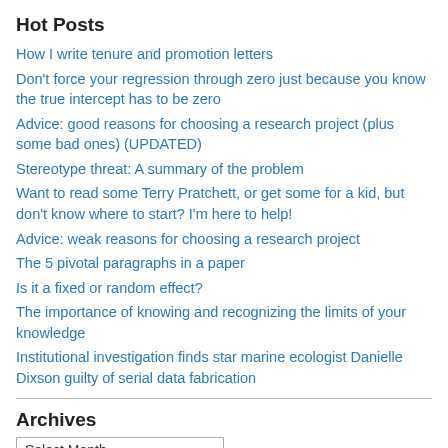Hot Posts
How I write tenure and promotion letters
Don't force your regression through zero just because you know the true intercept has to be zero
Advice: good reasons for choosing a research project (plus some bad ones) (UPDATED)
Stereotype threat: A summary of the problem
Want to read some Terry Pratchett, or get some for a kid, but don't know where to start? I'm here to help!
Advice: weak reasons for choosing a research project
The 5 pivotal paragraphs in a paper
Is it a fixed or random effect?
The importance of knowing and recognizing the limits of your knowledge
Institutional investigation finds star marine ecologist Danielle Dixson guilty of serial data fabrication
Archives